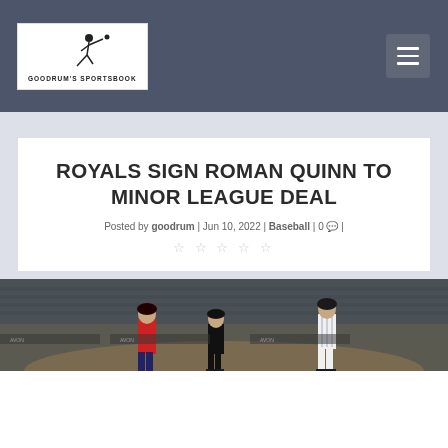Goodrum's Sportsbook
ROYALS SIGN ROMAN QUINN TO MINOR LEAGUE DEAL
Posted by goodrum | Jun 10, 2022 | Baseball | 0 💬 |
[Figure (photo): Baseball game photo showing players on field, one in white pinstripes and another in a red uniform, with stadium seats visible in background]